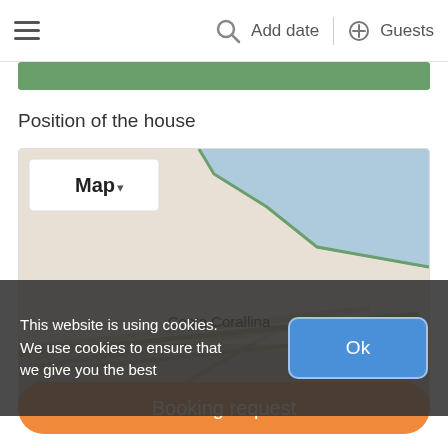≡  🔍 Add date | ⊕ Guests
[Figure (screenshot): Green banner bar (partial, cropped)]
Position of the house
[Figure (map): Google Maps view showing Costa Corallina and Spiaggia di Porto coastal area in Italy, with a Map dropdown button overlay]
This website is using cookies. We use cookies to ensure that we give you the best
Ok
Booking request